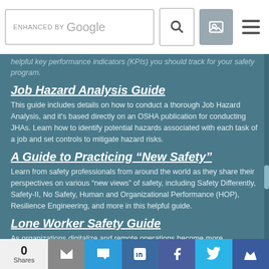[Figure (screenshot): Google search bar with search icon, image icon, and hamburger menu icon]
helpful key performance indicators (KPIs) you should track for your safety program.
Job Hazard Analysis Guide
This guide includes details on how to conduct a thorough Job Hazard Analysis, and it's based directly on an OSHA publication for conducting JHAs. Learn how to identify potential hazards associated with each task of a job and set controls to mitigate hazard risks.
A Guide to Practicing “New Safety”
Learn from safety professionals from around the world as they share their perspectives on various “new views” of safety, including Safety Differently, Safety-II, No Safety, Human and Organizational Performance (HOP), Resilience Engineering, and more in this helpful guide.
Lone Worker Safety Guide
As organizations digitalize and remote operations become more
[Figure (screenshot): Social share bar showing 0 Shares, email, SMS, LinkedIn, Facebook, Twitter, and crown/bookmark icons]